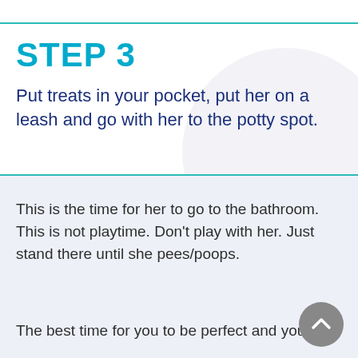STEP 3
Put treats in your pocket, put her on a leash and go with her to the potty spot.
This is the time for her to go to the bathroom. This is not playtime. Don't play with her. Just stand there until she pees/poops.
The best time for you to be perfect and your dog